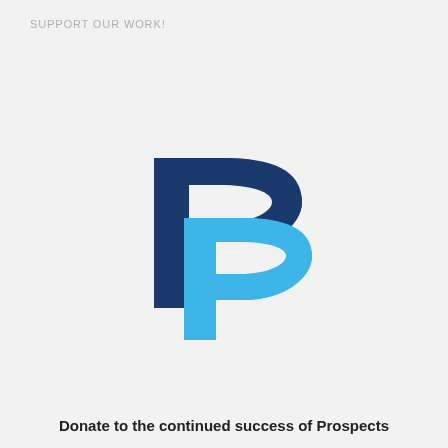SUPPORT OUR WORK!
[Figure (logo): PayPal logo — two overlapping stylized letter P marks, the back one in dark navy blue and the front one in light blue]
Donate to the continued success of Prospects